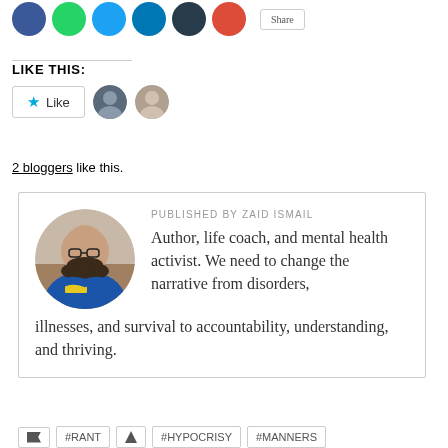[Figure (other): Row of social sharing icon circles (blue, green, light blue, dark blue, navy, red) and a share button]
LIKE THIS:
[Figure (other): Like button with star icon and two blogger avatar thumbnails]
2 bloggers like this.
[Figure (other): Author card showing circular photo of Zaid Ismail and bio text: PUBLISHED BY ZAID ISMAIL — Author, life coach, and mental health activist. We need to change the narrative from disorders, illnesses, and survival to accountability, understanding, and thriving.]
#RANT  #HYPOCRISY  #MANNERS